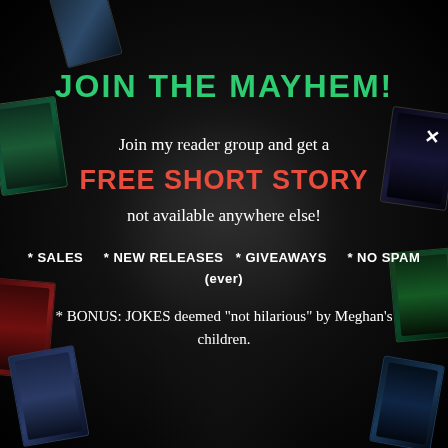[Figure (illustration): Dark background with book covers arranged around the edges on a black background with a faint glowing circle and tree silhouette in the center]
JOIN THE MAYHEM!
Join my reader group and get a
FREE SHORT STORY
not available anywhere else!
* SALES    * NEW RELEASES  * GIVEAWAYS    * NO SPAM (ever)
* BONUS: JOKES deemed "not hilarious" by Meghan's children.